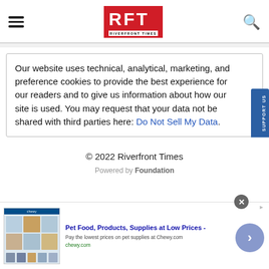[Figure (logo): RFT Riverfront Times logo in red box with white letters]
Our website uses technical, analytical, marketing, and preference cookies to provide the best experience for our readers and to give us information about how our site is used. You may request that your data not be shared with third parties here: Do Not Sell My Data.
© 2022 Riverfront Times
Powered by Foundation
[Figure (screenshot): Ad banner: Pet Food, Products, Supplies at Low Prices - Chewy.com]